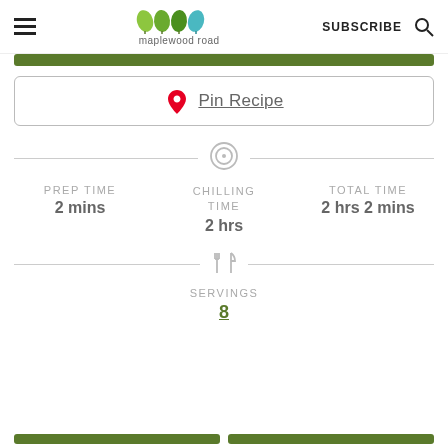maplewood road — SUBSCRIBE
Pin Recipe
PREP TIME 2 mins | CHILLING TIME 2 hrs | TOTAL TIME 2 hrs 2 mins
SERVINGS 8